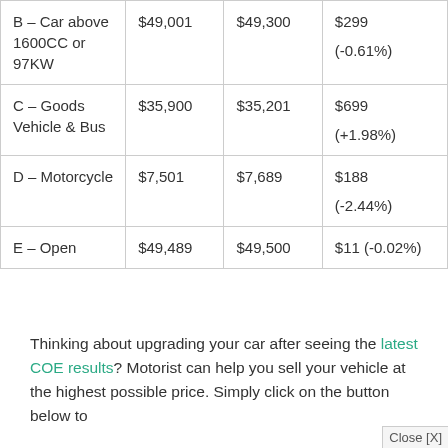| B – Car above 1600CC or 97KW | $49,001 | $49,300 | $299
(-0.61%) |
| C – Goods Vehicle & Bus | $35,900 | $35,201 | $699
(+1.98%) |
| D – Motorcycle | $7,501 | $7,689 | $188
(-2.44%) |
| E – Open | $49,489 | $49,500 | $11
(-0.02%) |
Thinking about upgrading your car after seeing the latest COE results? Motorist can help you sell your vehicle at the highest possible price. Simply click on the button below to